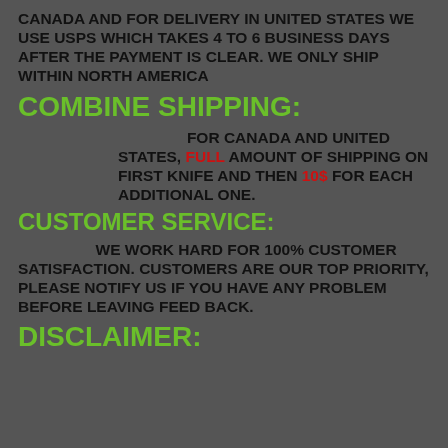CANADA AND FOR DELIVERY IN UNITED STATES WE USE USPS WHICH TAKES 4 TO 6 BUSINESS DAYS AFTER THE PAYMENT IS CLEAR. WE ONLY SHIP WITHIN NORTH AMERICA
COMBINE SHIPPING:
FOR CANADA AND UNITED STATES, FULL AMOUNT OF SHIPPING ON FIRST KNIFE AND THEN 10$ FOR EACH ADDITIONAL ONE.
CUSTOMER SERVICE:
WE WORK HARD FOR 100% CUSTOMER SATISFACTION. CUSTOMERS ARE OUR TOP PRIORITY, PLEASE NOTIFY US IF YOU HAVE ANY PROBLEM BEFORE LEAVING FEED BACK.
DISCLAIMER: